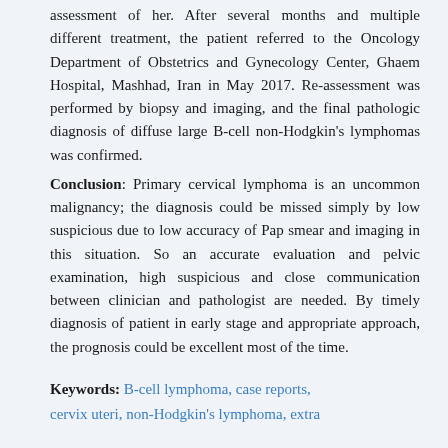assessment of her. After several months and multiple different treatment, the patient referred to the Oncology Department of Obstetrics and Gynecology Center, Ghaem Hospital, Mashhad, Iran in May 2017. Re-assessment was performed by biopsy and imaging, and the final pathologic diagnosis of diffuse large B-cell non-Hodgkin's lymphomas was confirmed.
Conclusion: Primary cervical lymphoma is an uncommon malignancy; the diagnosis could be missed simply by low suspicious due to low accuracy of Pap smear and imaging in this situation. So an accurate evaluation and pelvic examination, high suspicious and close communication between clinician and pathologist are needed. By timely diagnosis of patient in early stage and appropriate approach, the prognosis could be excellent most of the time.
Keywords: B-cell lymphoma, case reports, cervix uteri, non-Hodgkin's lymphoma, extra nodal lymphoma, pelvic examination.